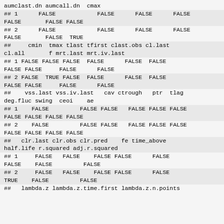aumclast.dn aumcall.dn  cmax
## 1      FALSE            FALSE      FALSE      FALSE
FALSE       FALSE FALSE
## 2      FALSE            FALSE      FALSE      FALSE
FALSE       FALSE  TRUE
##     cmin  tmax tlast tfirst clast.obs cl.last
cl.all       f mrt.last mrt.iv.last
## 1 FALSE FALSE FALSE  FALSE      FALSE  FALSE
FALSE FALSE     FALSE      FALSE
## 2 FALSE  TRUE FALSE  FALSE      FALSE  FALSE
FALSE FALSE     FALSE      FALSE
##    vss.last vss.iv.last   cav ctrough   ptr  tlag
deg.fluc swing  ceoi    ae
## 1    FALSE         FALSE FALSE   FALSE FALSE FALSE
FALSE FALSE FALSE FALSE
## 2    FALSE         FALSE FALSE   FALSE FALSE FALSE
FALSE FALSE FALSE FALSE
##   clr.last clr.obs clr.pred    fe time_above
half.life r.squared adj.r.squared
## 1     FALSE   FALSE    FALSE FALSE      FALSE
FALSE    FALSE         FALSE
## 2     FALSE   FALSE    FALSE FALSE      FALSE
TRUE    FALSE         FALSE
##   lambda.z lambda.z.time.first lambda.z.n.points